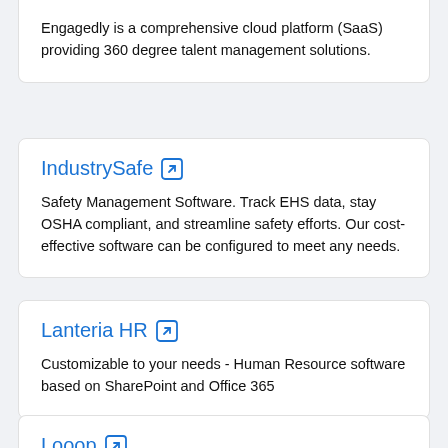Engagedly is a comprehensive cloud platform (SaaS) providing 360 degree talent management solutions.
IndustrySafe
Safety Management Software. Track EHS data, stay OSHA compliant, and streamline safety efforts. Our cost-effective software can be configured to meet any needs.
Lanteria HR
Customizable to your needs - Human Resource software based on SharePoint and Office 365
Looop
Looop is the only tool that helps you rapidly deliver context-